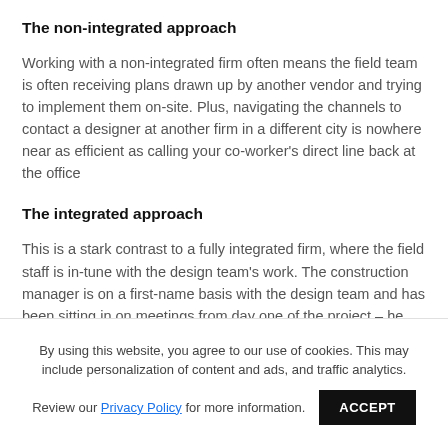The non-integrated approach
Working with a non-integrated firm often means the field team is often receiving plans drawn up by another vendor and trying to implement them on-site. Plus, navigating the channels to contact a designer at another firm in a different city is nowhere near as efficient as calling your co-worker’s direct line back at the office
The integrated approach
This is a stark contrast to a fully integrated firm, where the field staff is in-tune with the design team’s work. The construction manager is on a first-name basis with the design team and has been sitting in on meetings from day one of the project – he understands why certain elements
By using this website, you agree to our use of cookies. This may include personalization of content and ads, and traffic analytics.
Review our Privacy Policy for more information.